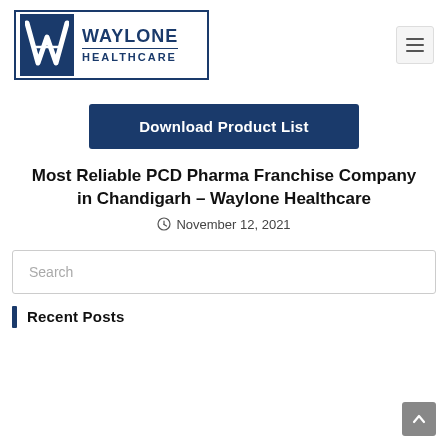[Figure (logo): Waylone Healthcare logo — navy blue W lettermark on dark blue background beside WAYLONE HEALTHCARE text]
Most Reliable PCD Pharma Franchise Company in Chandigarh – Waylone Healthcare
November 12, 2021
Search
Recent Posts